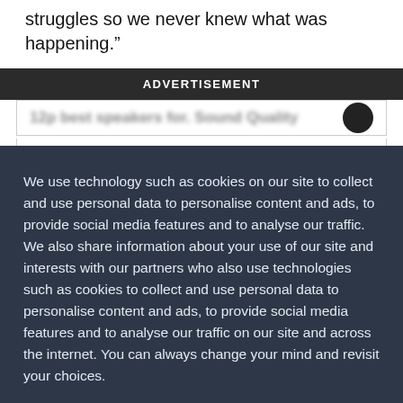struggles so we never knew what was happening."
ADVERTISEMENT
We use technology such as cookies on our site to collect and use personal data to personalise content and ads, to provide social media features and to analyse our traffic. We also share information about your use of our site and interests with our partners who also use technologies such as cookies to collect and use personal data to personalise content and ads, to provide social media features and to analyse our traffic on our site and across the internet. You can always change your mind and revisit your choices.
Manage Options
I Accept